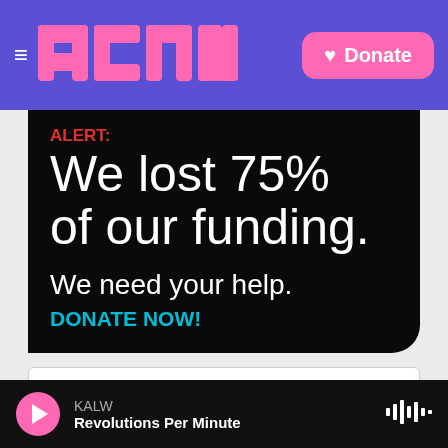KALW — Donate
[Figure (screenshot): KALW public radio website header with purple background, pink block logo, hamburger menu icon, and pink Donate button with heart icon]
[Figure (infographic): Black alert banner reading: ALERT: We lost 75% of our funding. We need your help. DONATE NOW!]
Sponsorship for Local
KALW — Revolutions Per Minute